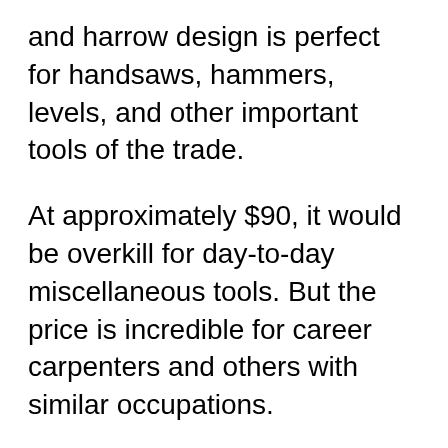and harrow design is perfect for handsaws, hammers, levels, and other important tools of the trade.
At approximately $90, it would be overkill for day-to-day miscellaneous tools. But the price is incredible for career carpenters and others with similar occupations.
Because of its size, it fits well in the back of a pick-up truck for easy access on a job site. It will not sit flush in the bed of a truck, so it is not advisable to drive with it unfastened.